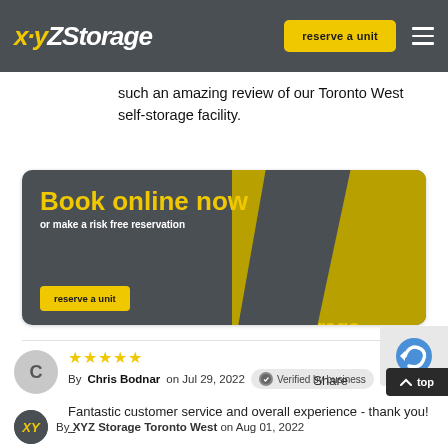[Figure (screenshot): XYZ Storage website header with logo, 'reserve a unit' yellow button, and hamburger menu on dark grey background]
such an amazing review of our Toronto West self-storage facility.
[Figure (infographic): XYZ Storage promotional banner: 'Book online now or make a risk free reservation' with 'reserve a unit' button on dark background and XYZ Storage building photo on right]
★★★★★
By Chris Bodnar on Jul 29, 2022  Verified by business
Fantastic customer service and overall experience - thank you! –
Share
By XYZ Storage Toronto West on Aug 01, 2022